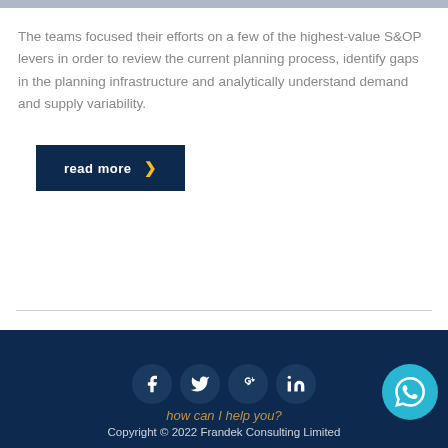[Figure (photo): Top image strip, partial photograph visible at top of page]
The teams focused their efforts on a few of the highest-value S&OP levers in order to review the current planning process, identify gaps in the planning infrastructure and analytically understand demand and supply variability.
read more ›
Copyright © 2022 Frandek Consulting Limited